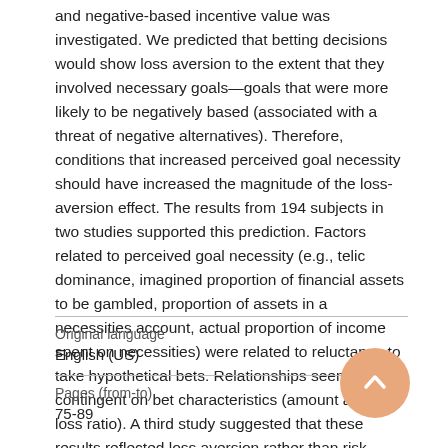and negative-based incentive value was investigated. We predicted that betting decisions would show loss aversion to the extent that they involved necessary goals—goals that were more likely to be negatively based (associated with a threat of negative alternatives). Therefore, conditions that increased perceived goal necessity should have increased the magnitude of the loss-aversion effect. The results from 194 subjects in two studies supported this prediction. Factors related to perceived goal necessity (e.g., telic dominance, imagined proportion of financial assets to be gambled, proportion of assets in a necessities account, actual proportion of income spent on necessities) were related to reluctance to take hypothetical bets. Relationships seemed to be contingent on bet characteristics (amount and win-loss ratio). A third study suggested that these results reflected loss aversion rather than risk aversion.
| Field | Value |
| --- | --- |
| Original language | English (US) |
| Pages (from-to) | 75-89 |